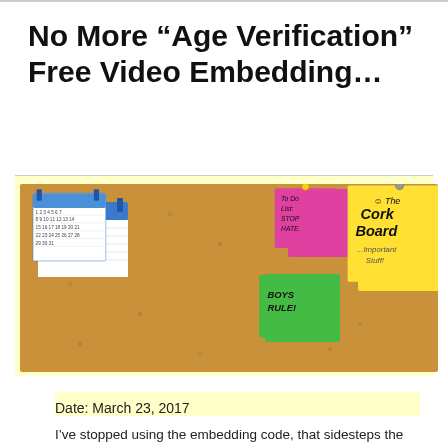No More “Age Verification” Free Video Embedding…
[Figure (illustration): Corkboard banner image titled 'The Cork Board - Important Stuff!' with sticky notes, a calendar, a butterfly graphic, and notes reading 'To Do List: STOP HATE', 'BOYS RULE!', 'Functions Chats Media Announcements Etc.', and 'LOVE is THE WAY!']
Date: March 23, 2017
I’ve stopped using the embedding code, that sidesteps the YouTube age verification.

Potentially, you’ve noticed that a lot of the